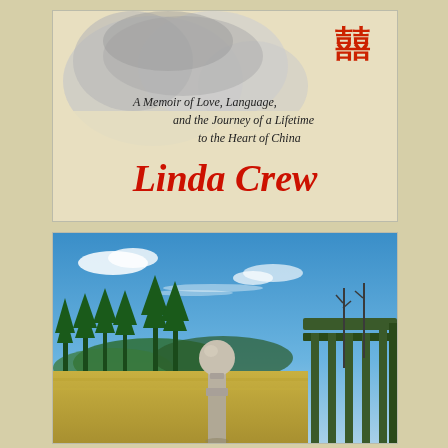[Figure (illustration): Book cover image with handwritten-style italic text reading 'A Memoir of Love, Language, and the Journey of a Lifetime to the Heart of China' in black script, author name 'Linda Crew' in large red cursive script, a red Chinese double happiness character in the upper right, and a blurred reflective background image of trees/sky.]
[Figure (photo): Outdoor photograph showing a rural landscape with blue sky, scattered clouds, green conifer trees, rolling hills/mountains in the background, a golden dry meadow in the foreground, and a weathered wooden finial post from a porch railing visible on the right side with green wooden railing behind it.]